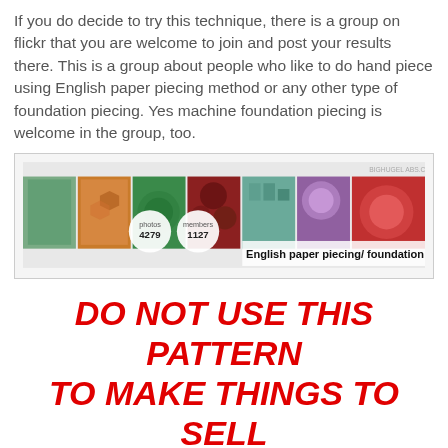If you do decide to try this technique, there is a group on flickr that you are welcome to join and post your results there. This is a group about people who like to do hand piece using English paper piecing method or any other type of foundation piecing. Yes machine foundation piecing is welcome in the group, too.
[Figure (screenshot): Flickr group banner showing quilting photos with stats: photos 4279, members 1127, titled 'English paper piecing/ foundation piecing']
DO NOT USE THIS PATTERN TO MAKE THINGS TO SELL FOR PERSONAL USE ONLY!!!!
wendy harbaugh at 3/10/2007 11:01:00 PM
Share